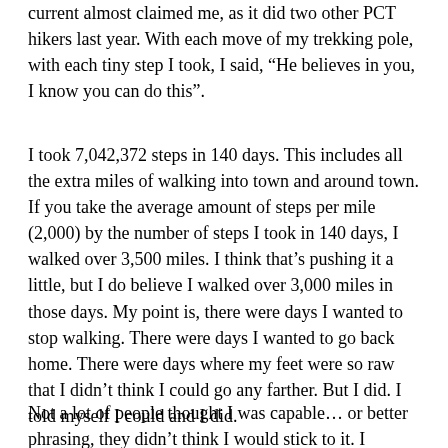current almost claimed me, as it did two other PCT hikers last year. With each move of my trekking pole, with each tiny step I took, I said, “He believes in you, I know you can do this”.
I took 7,042,372 steps in 140 days. This includes all the extra miles of walking into town and around town. If you take the average amount of steps per mile (2,000) by the number of steps I took in 140 days, I walked over 3,500 miles. I think that’s pushing it a little, but I do believe I walked over 3,000 miles in those days. My point is, there were days I wanted to stop walking. There were days I wanted to go back home. There were days where my feet were so raw that I didn’t think I could go any farther. But I did. I told myself I could and I did.
Not a lot of people thought I was capable… or better phrasing, they didn’t think I would stick to it. I